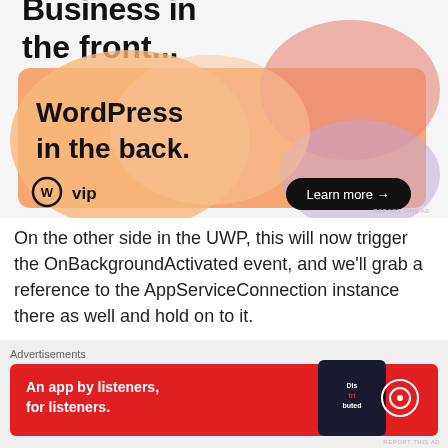[Figure (advertisement): WordPress VIP advertisement: 'Business in the front... WordPress in the back.' with a gradient orange/pink/purple background, WordPress VIP logo and 'Learn more →' button]
On the other side in the UWP, this will now trigger the OnBackgroundActivated event, and we'll grab a reference to the AppServiceConnection instance there as well and hold on to it.
[Figure (advertisement): Pocket Casts advertisement: 'An app by listeners, for listeners.' with red background, Pocket Casts logo and image of phone showing 'Distributed' podcast]